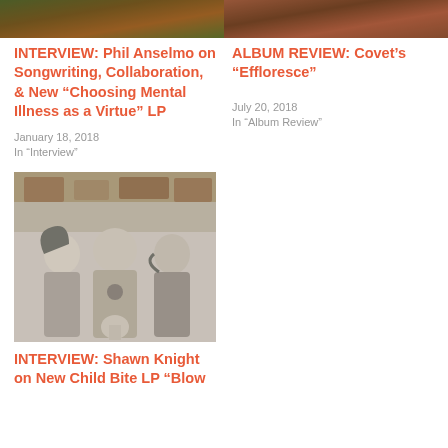[Figure (photo): Top cropped photo strip, left column]
[Figure (photo): Top cropped photo strip, right column]
INTERVIEW: Phil Anselmo on Songwriting, Collaboration, & New "Choosing Mental Illness as a Virtue" LP
January 18, 2018
In "Interview"
ALBUM REVIEW: Covet's "Effloresce"
July 20, 2018
In "Album Review"
[Figure (photo): Black and white band photo of Shawn Knight / Child Bite]
INTERVIEW: Shawn Knight on New Child Bite LP "Blow